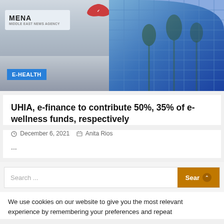[Figure (photo): Photograph of a modern office building with glass facade and a sign reading MENA. Blue glass curved building visible on the right side with palm trees reflected.]
UHIA, e-finance to contribute 50%, 35% of e-wellness funds, respectively
December 6, 2021   Anita Rios
...
Search ...
We use cookies on our website to give you the most relevant experience by remembering your preferences and repeat